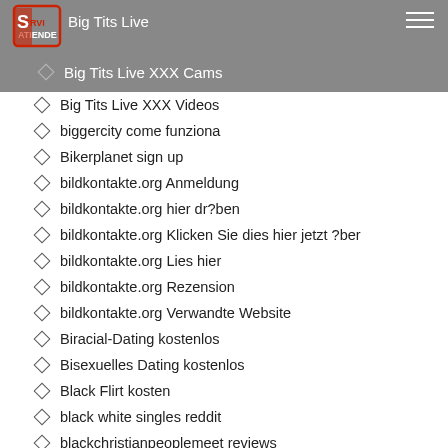Big Tits Live
Big Tits Live XXX Cams
Big Tits Live XXX Videos
biggercity come funziona
Bikerplanet sign up
bildkontakte.org Anmeldung
bildkontakte.org hier dr?ben
bildkontakte.org Klicken Sie dies hier jetzt ?ber
bildkontakte.org Lies hier
bildkontakte.org Rezension
bildkontakte.org Verwandte Website
Biracial-Dating kostenlos
Bisexuelles Dating kostenlos
Black Flirt kosten
black white singles reddit
blackchristianpeoplemeet reviews
blackcupid review